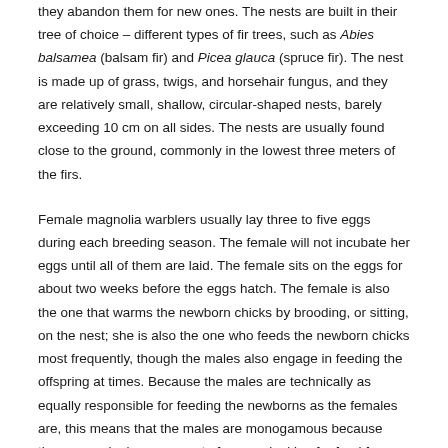they abandon them for new ones. The nests are built in their tree of choice – different types of fir trees, such as Abies balsamea (balsam fir) and Picea glauca (spruce fir). The nest is made up of grass, twigs, and horsehair fungus, and they are relatively small, shallow, circular-shaped nests, barely exceeding 10 cm on all sides. The nests are usually found close to the ground, commonly in the lowest three meters of the firs.
Female magnolia warblers usually lay three to five eggs during each breeding season. The female will not incubate her eggs until all of them are laid. The female sits on the eggs for about two weeks before the eggs hatch. The female is also the one that warms the newborn chicks by brooding, or sitting, on the nest; she is also the one who feeds the newborn chicks most frequently, though the males also engage in feeding the offspring at times. Because the males are technically as equally responsible for feeding the newborns as the females are, this means that the males are monogamous because they expend a large amount of energy looking for food for their young. In order to keep the nest clean, females eat the fecal sacs of their newborns; as the chicks grow older, both parents simply remove the sacs from the nest. The baby warblers are ready to fly out of the nest by the time they are ten days old.
CONSERVATION